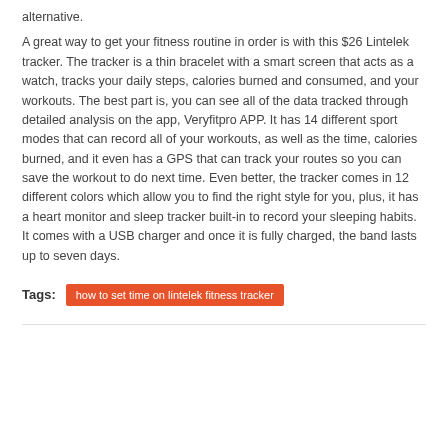alternative.
A great way to get your fitness routine in order is with this $26 Lintelek tracker. The tracker is a thin bracelet with a smart screen that acts as a watch, tracks your daily steps, calories burned and consumed, and your workouts. The best part is, you can see all of the data tracked through detailed analysis on the app, Veryfitpro APP. It has 14 different sport modes that can record all of your workouts, as well as the time, calories burned, and it even has a GPS that can track your routes so you can save the workout to do next time. Even better, the tracker comes in 12 different colors which allow you to find the right style for you, plus, it has a heart monitor and sleep tracker built-in to record your sleeping habits. It comes with a USB charger and once it is fully charged, the band lasts up to seven days.
Tags: how to set time on lintelek fitness tracker